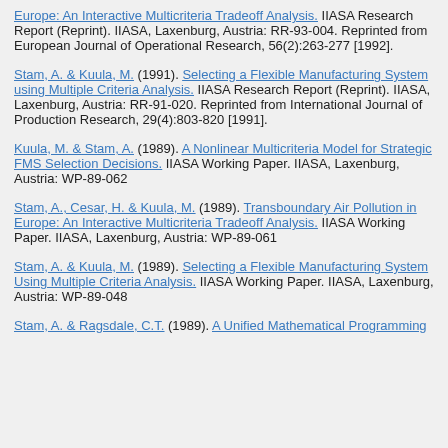Europe: An Interactive Multicriteria Tradeoff Analysis. IIASA Research Report (Reprint). IIASA, Laxenburg, Austria: RR-93-004. Reprinted from European Journal of Operational Research, 56(2):263-277 [1992].
Stam, A. & Kuula, M. (1991). Selecting a Flexible Manufacturing System using Multiple Criteria Analysis. IIASA Research Report (Reprint). IIASA, Laxenburg, Austria: RR-91-020. Reprinted from International Journal of Production Research, 29(4):803-820 [1991].
Kuula, M. & Stam, A. (1989). A Nonlinear Multicriteria Model for Strategic FMS Selection Decisions. IIASA Working Paper. IIASA, Laxenburg, Austria: WP-89-062
Stam, A., Cesar, H. & Kuula, M. (1989). Transboundary Air Pollution in Europe: An Interactive Multicriteria Tradeoff Analysis. IIASA Working Paper. IIASA, Laxenburg, Austria: WP-89-061
Stam, A. & Kuula, M. (1989). Selecting a Flexible Manufacturing System Using Multiple Criteria Analysis. IIASA Working Paper. IIASA, Laxenburg, Austria: WP-89-048
Stam, A. & Ragsdale, C.T. (1989). A Unified Mathematical Programming